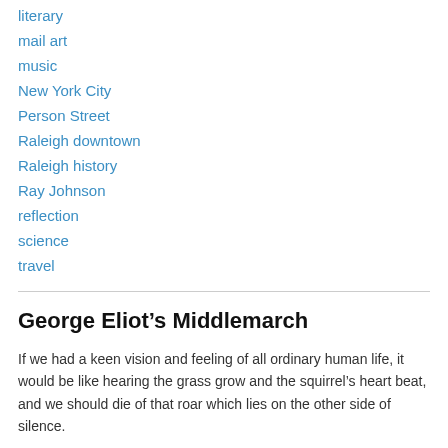literary
mail art
music
New York City
Person Street
Raleigh downtown
Raleigh history
Ray Johnson
reflection
science
travel
George Eliot’s Middlemarch
If we had a keen vision and feeling of all ordinary human life, it would be like hearing the grass grow and the squirrel’s heart beat, and we should die of that roar which lies on the other side of silence.